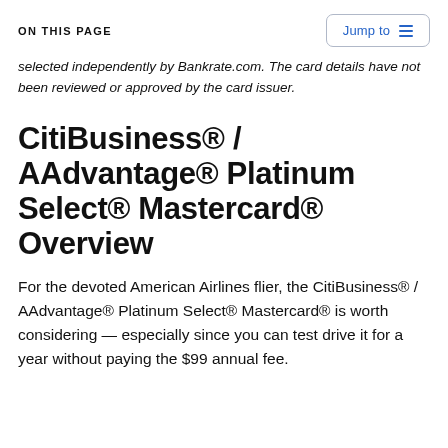ON THIS PAGE
selected independently by Bankrate.com. The card details have not been reviewed or approved by the card issuer.
CitiBusiness® / AAdvantage® Platinum Select® Mastercard® Overview
For the devoted American Airlines flier, the CitiBusiness® / AAdvantage® Platinum Select® Mastercard® is worth considering — especially since you can test drive it for a year without paying the $99 annual fee.